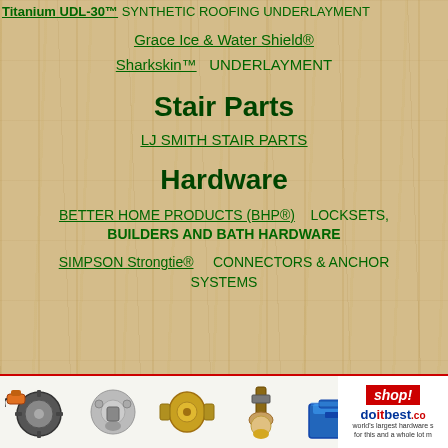Titanium UDL-30™ SYNTHETIC ROOFING UNDERLAYMENT
Grace Ice & Water Shield®
Sharkskin™  UNDERLAYMENT
Stair Parts
LJ SMITH STAIR PARTS
Hardware
BETTER HOME PRODUCTS (BHP®)   LOCKSETS, BUILDERS AND BATH HARDWARE
SIMPSON Strongtie®    CONNECTORS & ANCHOR SYSTEMS
[Figure (infographic): Footer banner with hardware product images (circular saw, lock mechanisms, paint brush, storage bin) and Do it Best shop logo]